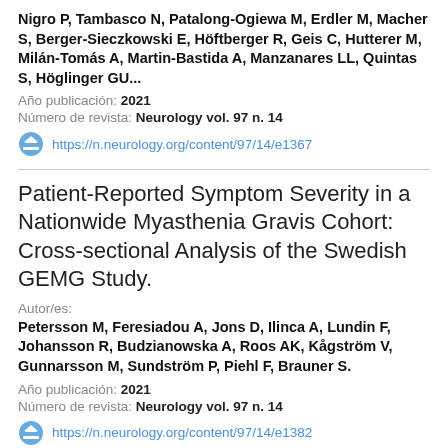Nigro P, Tambasco N, Patalong-Ogiewa M, Erdler M, Macher S, Berger-Sieczkowski E, Höftberger R, Geis C, Hutterer M, Milán-Tomás A, Martin-Bastida A, Manzanares LL, Quintas S, Höglinger GU...
Año publicación: 2021
Número de revista: Neurology vol. 97 n. 14
https://n.neurology.org/content/97/14/e1367
Patient-Reported Symptom Severity in a Nationwide Myasthenia Gravis Cohort: Cross-sectional Analysis of the Swedish GEMG Study.
Autor/es:
Petersson M, Feresiadou A, Jons D, Ilinca A, Lundin F, Johansson R, Budzianowska A, Roos AK, Kågström V, Gunnarsson M, Sundström P, Piehl F, Brauner S.
Año publicación: 2021
Número de revista: Neurology vol. 97 n. 14
https://n.neurology.org/content/97/14/e1382